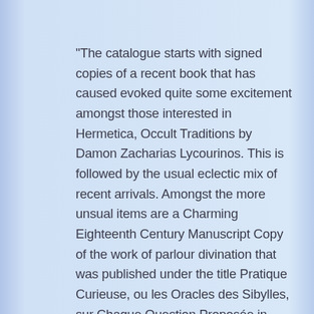“The catalogue starts with signed copies of a recent book that has caused evoked quite some excitement amongst those interested in Hermetica, Occult Traditions by Damon Zacharias Lycourinos. This is followed by the usual eclectic mix of recent arrivals. Amongst the more unsual items are a Charming Eighteenth Century Manuscript Copy of the work of parlour divination that was published under the title Pratique Curieuse, ou les Oracles des Sibylles, sur Chaque Question Proposée in 1694; one of the final nineteenth century revised editions of Collin de Plancy’s Dictionnaire Infernal (but published anonymousyly under the title Dictionnaire des Sciences Occulte (1846/1848 & 1852); an inscribed copy of George Frederick Kunz’s